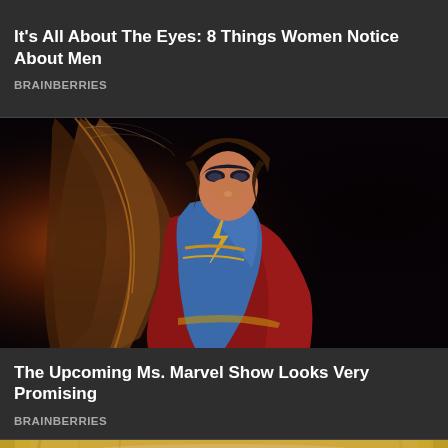It's All About The Eyes: 8 Things Women Notice About Men
BRAINBERRIES
[Figure (photo): Ms. Marvel character in blue and red superhero costume with mask, hair blowing, dark dramatic background]
The Upcoming Ms. Marvel Show Looks Very Promising
BRAINBERRIES
[Figure (photo): Close-up of woman's eyes with dramatic eye makeup, long lashes, blonde hair, green-hazel eyes]